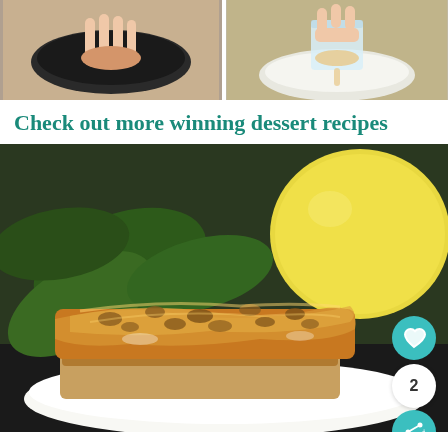[Figure (photo): Two step-by-step cooking photos side by side: left shows a hand with food in a dark pan, right shows a hand holding a glass container over a bowl]
Check out more winning dessert recipes
[Figure (photo): Close-up photo of a dessert piece (caramel/walnut topped bar or cake slice) on a white plate, with green leaves and a yellow lemon in the background. Teal heart favorite button, count badge showing 2, and share button overlaid on bottom right.]